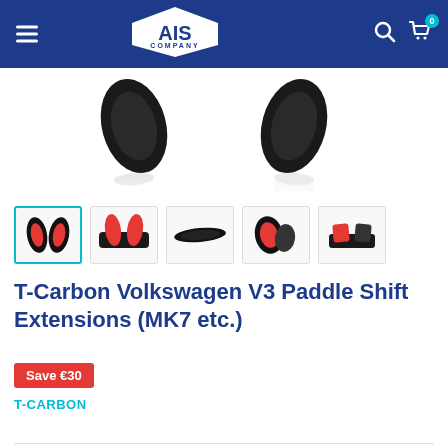AIS Company - navigation header with logo, hamburger menu, search and cart icons
[Figure (photo): Product photo showing two black carbon fiber paddle shift extensions from above on white background with reflections]
[Figure (photo): Row of 5 product thumbnails: first selected (blue border) showing black paddle pair, second showing red paddle bundle, third showing side profile, fourth showing red and black paddles, fifth showing bundle top view]
T-Carbon Volkswagen V3 Paddle Shift Extensions (MK7 etc.)
Save €30
T-CARBON